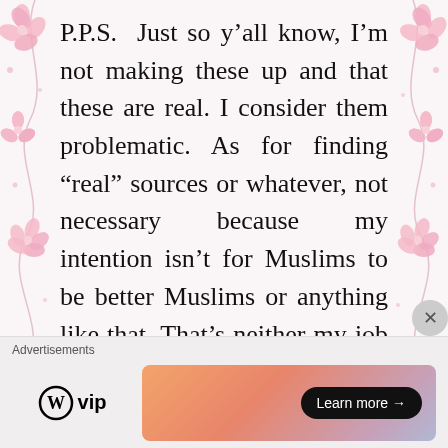[Figure (illustration): Decorative floral border on the left side with pink flowers and swirling vines on a white/light background]
[Figure (illustration): Decorative floral border on the right side with pink flowers and swirling vines on a white/light background]
P.P.S. Just so y’all know, I’m not making these up and that these are real. I consider them problematic. As for finding “real” sources or whatever, not necessary because my intention isn’t for Muslims to be better Muslims or anything like that. That’s neither my job nor my interest. This is just for fun. Basically, it’s a response to every
Advertisements
[Figure (logo): WordPress VIP logo with circle W and 'vip' text]
[Figure (screenshot): Advertisement banner with gradient orange-pink-blue background and a 'Learn more →' button in black]